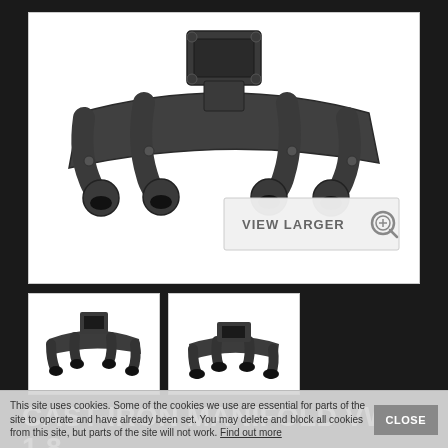[Figure (photo): Cast-iron exhaust manifold for VW 1.8 8V engine T3/T4, viewed from above at a slight angle. The manifold is dark grey/black cast iron with four runner ports and a central turbo flange outlet on top. A 'VIEW LARGER' button with a magnifying glass icon is overlaid in the bottom-right of the image.]
[Figure (photo): Thumbnail front view of the cast-iron manifold showing the four runner ports and turbo flange.]
[Figure (photo): Thumbnail rear/side view of the cast-iron manifold.]
CAST-IRON MANIFOLD VW 1.8 8V ENGINE T3/T4
This site uses cookies. Some of the cookies we use are essential for parts of the site to operate and have already been set. You may delete and block all cookies from this site, but parts of the site will not work. Find out more